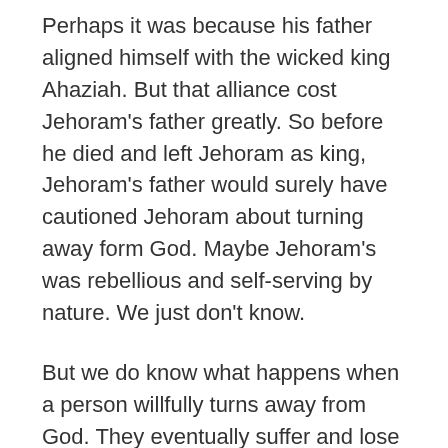Perhaps it was because his father aligned himself with the wicked king Ahaziah. But that alliance cost Jehoram's father greatly. So before he died and left Jehoram as king, Jehoram's father would surely have cautioned Jehoram about turning away form God. Maybe Jehoram's was rebellious and self-serving by nature. We just don't know.
But we do know what happens when a person willfully turns away from God. They eventually suffer and lose control. They don't achieve their desires; they achieve their nightmares. 2 Chronicles 21:20 tells us that when Jehoram died, no one was sad or sorry. I cannot think of a sadder epitaph.
We may not know why a person chooses a different path than the one God desires, but we